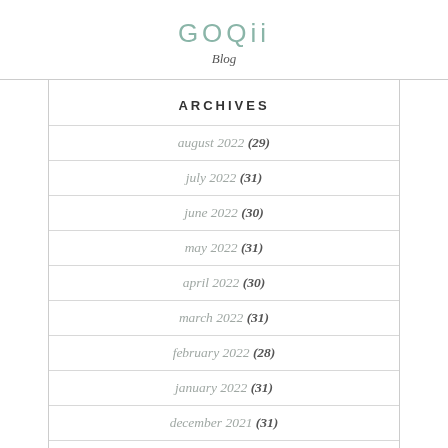GOQii Blog
ARCHIVES
august 2022 (29)
july 2022 (31)
june 2022 (30)
may 2022 (31)
april 2022 (30)
march 2022 (31)
february 2022 (28)
january 2022 (31)
december 2021 (31)
november 2021 (28)